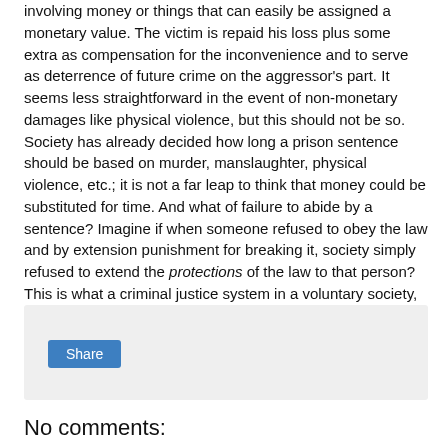involving money or things that can easily be assigned a monetary value. The victim is repaid his loss plus some extra as compensation for the inconvenience and to serve as deterrence of future crime on the aggressor's part. It seems less straightforward in the event of non-monetary damages like physical violence, but this should not be so. Society has already decided how long a prison sentence should be based on murder, manslaughter, physical violence, etc.; it is not a far leap to think that money could be substituted for time. And what of failure to abide by a sentence? Imagine if when someone refused to obey the law and by extension punishment for breaking it, society simply refused to extend the protections of the law to that person? This is what a criminal justice system in a voluntary society, one without an entity granted the legal ability to use force might look like.
[Figure (other): Share button widget box with light grey background]
No comments: